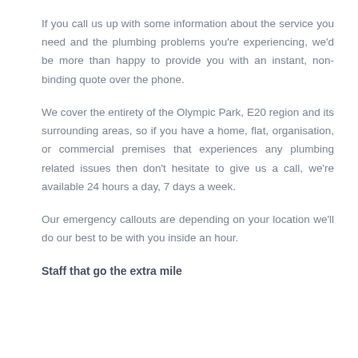If you call us up with some information about the service you need and the plumbing problems you're experiencing, we'd be more than happy to provide you with an instant, non-binding quote over the phone.
We cover the entirety of the Olympic Park, E20 region and its surrounding areas, so if you have a home, flat, organisation, or commercial premises that experiences any plumbing related issues then don't hesitate to give us a call, we're available 24 hours a day, 7 days a week.
Our emergency callouts are depending on your location we'll do our best to be with you inside an hour.
Staff that go the extra mile